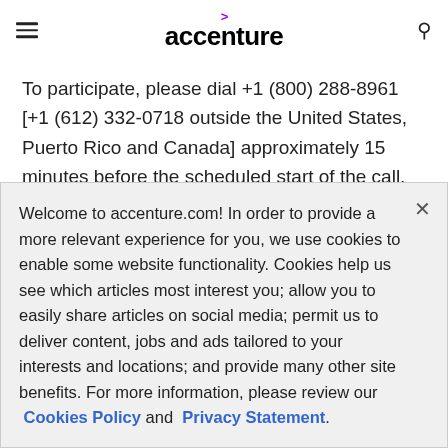accenture
To participate, please dial +1 (800) 288-8961 [+1 (612) 332-0718 outside the United States, Puerto Rico and Canada] approximately 15 minutes before the scheduled start of the call. The conference call will also be accessible live on the Investor Relations section of the Accenture Web site at
Welcome to accenture.com! In order to provide a more relevant experience for you, we use cookies to enable some website functionality. Cookies help us see which articles most interest you; allow you to easily share articles on social media; permit us to deliver content, jobs and ads tailored to your interests and locations; and provide many other site benefits. For more information, please review our Cookies Policy and Privacy Statement.